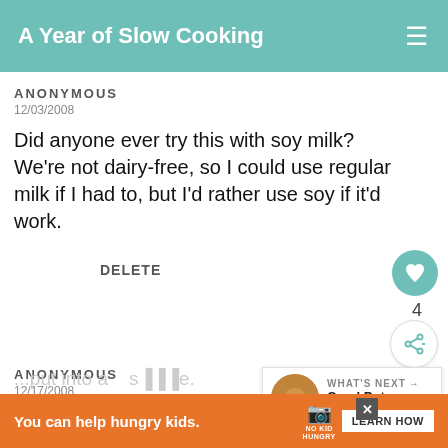A Year of Slow Cooking
ANONYMOUS
12/03/2008
Did anyone ever try this with soy milk? We're not dairy-free, so I could use regular milk if I had to, but I'd rather use soy if it'd work.
DELETE
ANONYMOUS
12/17/2008
I made this tonight with only 3/4 cup of sugar/4 large eggs and it was PERFECT! So yummy ...put into a ...smile.
WHAT'S NEXT → CrockPot Bread...
You can help hungry kids. NO KID HUNGRY LEARN HOW